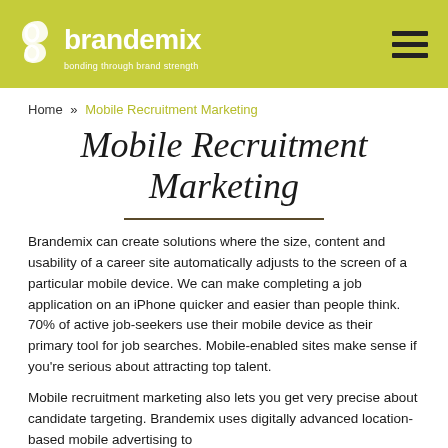brandemix — bonding through brand strength
Home » Mobile Recruitment Marketing
Mobile Recruitment Marketing
Brandemix can create solutions where the size, content and usability of a career site automatically adjusts to the screen of a particular mobile device. We can make completing a job application on an iPhone quicker and easier than people think. 70% of active job-seekers use their mobile device as their primary tool for job searches. Mobile-enabled sites make sense if you're serious about attracting top talent.
Mobile recruitment marketing also lets you get very precise about candidate targeting. Brandemix uses digitally advanced location-based mobile advertising to